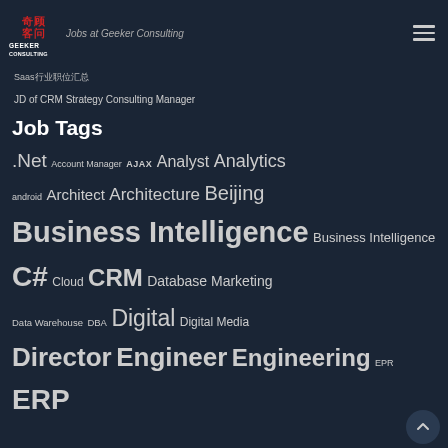Geeker Consulting — Jobs at Geeker Consulting
Saas行业职位汇总
JD of CRM Strategy Consulting Manager
Job Tags
.Net  Account Manager  AJAX  Analyst  Analytics  android  Architect  Architecture  Beijing  Business Intelligence  Business Intelligence  C#  Cloud  CRM  Database Marketing  Data Warehouse  DBA  Digital  Digital Media  Director  Engineer  Engineering  EPR  ERP